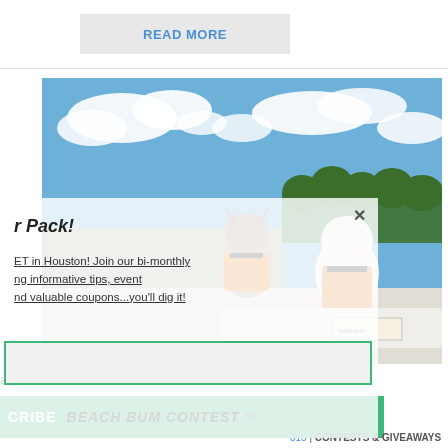READ MORE
[Figure (photo): Two small dogs wearing orange life jackets sitting on a boat, blue sky with white clouds and trees in background]
r Pack! ET in Houston! Join our bi-monthly ng informative tips, event nd valuable coupons...you'll dig it!
ates.
CRIBE  BEACH BUM CONTEST
013 | CONTESTS & GIVEAWAYS